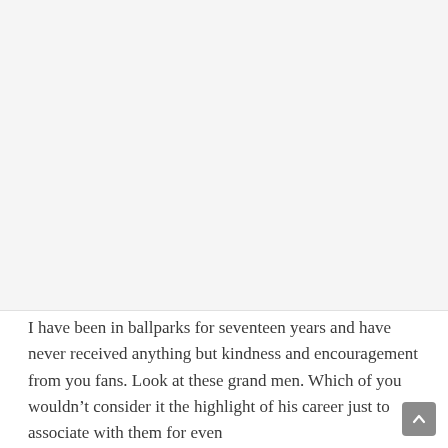[Figure (other): Large white/light gray blank area occupying the top portion of the page, likely where an image was displayed.]
I have been in ballparks for seventeen years and have never received anything but kindness and encouragement from you fans. Look at these grand men. Which of you wouldn't consider it the highlight of his career just to associate with them for even